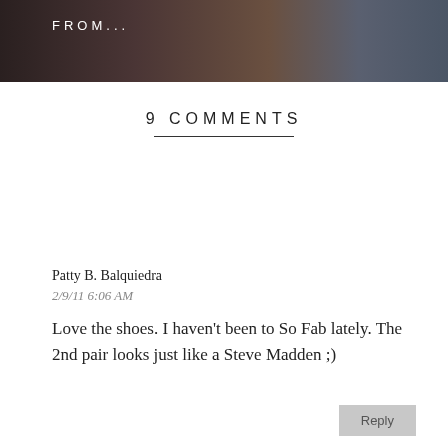[Figure (photo): Dark photo banner with text 'FROM...' in white letters on a dark background showing partial image content]
9 COMMENTS
Patty B. Balquiedra
2/9/11 6:06 AM
Love the shoes. I haven't been to So Fab lately. The 2nd pair looks just like a Steve Madden ;)